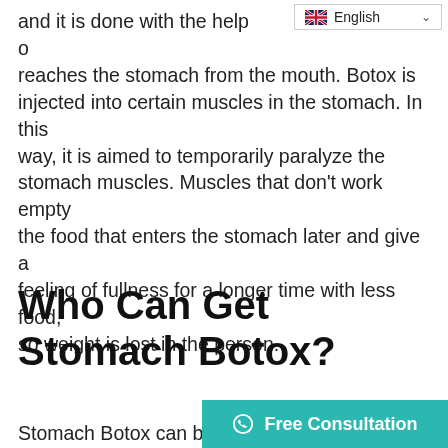[Figure (screenshot): Language selector UI element showing UK flag and 'English' text with dropdown chevron]
and it is done with the help of reaches the stomach from the mouth. Botox is injected into certain muscles in the stomach. In this way, it is aimed to temporarily paralyze the stomach muscles. Muscles that don't work empty the food that enters the stomach later and give a feeling of fullness for a longer time with less food, so weight is lost in the person.
Who Can Get Stomach Botox?
Stomach Botox can be applied to anyone who wants to lose weight. However, there are some criteria for patients that can be applied. If you are considering stomach b this procedure if you comply with these criteria.
[Figure (screenshot): WhatsApp Free Consultation button in teal/green color at bottom right]